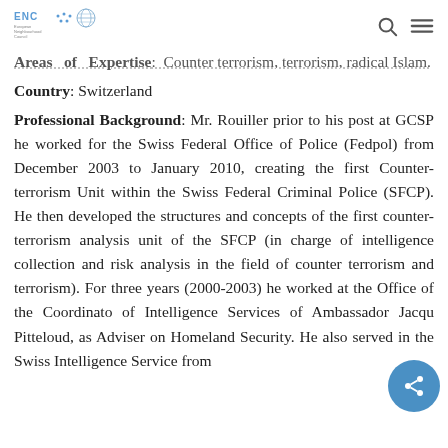ENC - European Neighbourhood Council
Areas of Expertise: Counter terrorism, terrorism, radical Islam.
Country: Switzerland
Professional Background: Mr. Rouiller prior to his post at GCSP he worked for the Swiss Federal Office of Police (Fedpol) from December 2003 to January 2010, creating the first Counter-terrorism Unit within the Swiss Federal Criminal Police (SFCP). He then developed the structures and concepts of the first counter-terrorism analysis unit of the SFCP (in charge of intelligence collection and risk analysis in the field of counter terrorism and terrorism). For three years (2000-2003) he worked at the Office of the Coordinator of Intelligence Services of Ambassador Jacques Pitteloud, as Adviser on Homeland Security. He also served in the Swiss Intelligence Service from